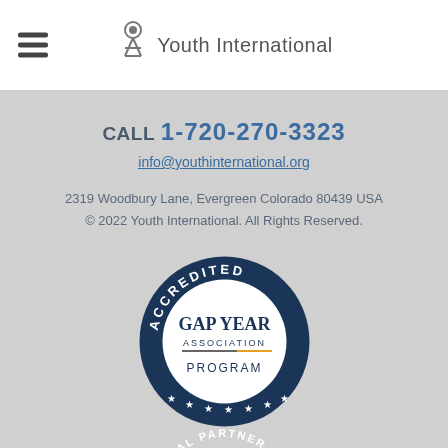Youth International
CALL 1-720-270-3323
info@youthinternational.org
2319 Woodbury Lane, Evergreen Colorado 80439 USA
© 2022 Youth International. All Rights Reserved.
[Figure (logo): Accredited Gap Year Association Program badge - circular dark navy blue badge with text ACCREDITED on the outer ring and GAP YEAR ASSOCIATION with a decorative line and PROGRAM in the center white circle]
[Figure (logo): Official Partner cangap badge - circular badge with teal outer ring with OFFICIAL PARTNER text, and cangap logo with red maple leaf in the center]